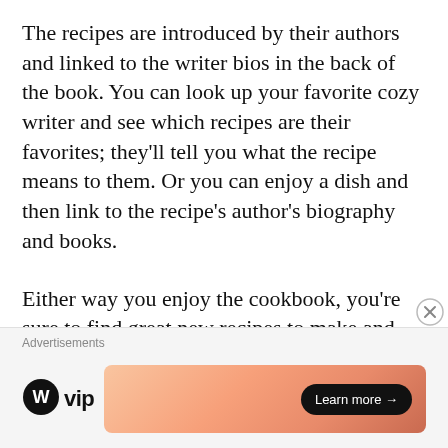The recipes are introduced by their authors and linked to the writer bios in the back of the book. You can look up your favorite cozy writer and see which recipes are their favorites; they'll tell you what the recipe means to them. Or you can enjoy a dish and then link to the recipe's author's biography and books.
Either way you enjoy the cookbook, you're sure to find great new recipes to make and terrific new cozy authors to read.
Contributing Authors: Sparkle Abbey, Ellery Adams, (and others partially visible...)
[Figure (other): Advertisement bar at bottom: WordPress VIP logo on left, gradient orange banner ad with 'Learn more →' button on right, 'Advertisements' label above. Close (X) button in lower right.]